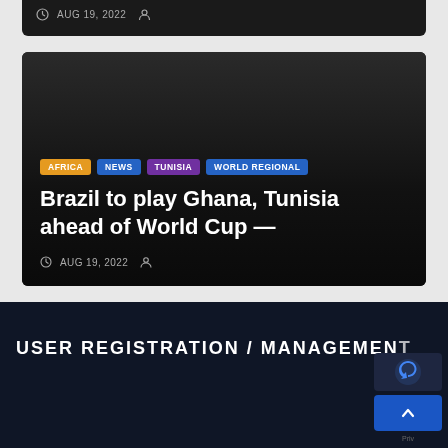AUG 19, 2022
[Figure (screenshot): Dark article card with tags AFRICA, NEWS, TUNISIA, WORLD REGIONAL and headline 'Brazil to play Ghana, Tunisia ahead of World Cup —' dated AUG 19, 2022]
Brazil to play Ghana, Tunisia ahead of World Cup —
AUG 19, 2022
USER REGISTRATION / MANAGEMENT